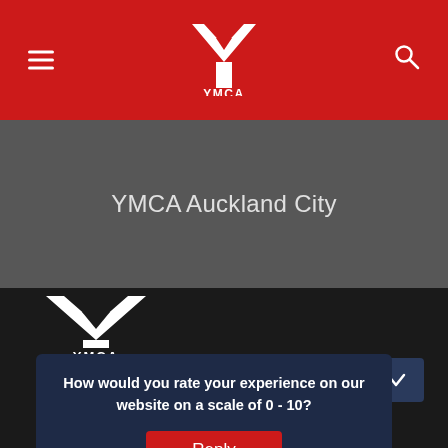YMCA Auckland
YMCA Auckland City
[Figure (logo): YMCA logo in white on dark background]
How would you rate your experience on our website on a scale of 0 - 10?
Reply